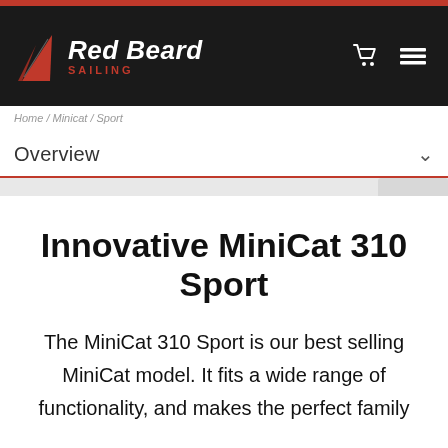[Figure (logo): Red Beard Sailing logo with sail icon and text]
Red Beard Sailing — navigation header with cart and menu icons
Home / Minicat / Sport
Overview
Innovative MiniCat 310 Sport
The MiniCat 310 Sport is our best selling MiniCat model. It fits a wide range of functionality, and makes the perfect family